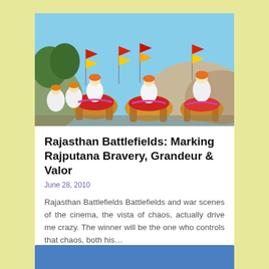[Figure (photo): Colorful procession of Rajasthani soldiers in traditional white and yellow uniforms with red and yellow flags, riding decorated camels and horses in a festive parade against a light blue sky background.]
Rajasthan Battlefields: Marking Rajputana Bravery, Grandeur & Valor
June 28, 2010
Rajasthan Battlefields Battlefields and war scenes of the cinema, the vista of chaos, actually drive me crazy. The winner will be the one who controls that chaos, both his…